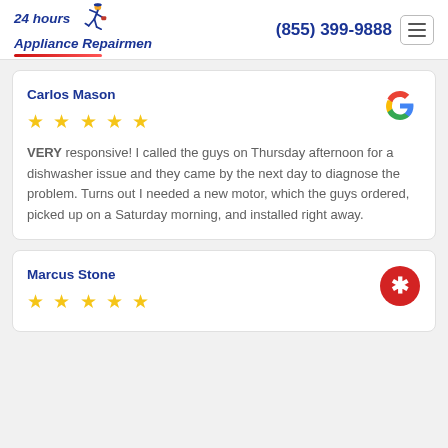24 hours Appliance Repairmen — (855) 399-9888
Carlos Mason
★★★★★
VERY responsive! I called the guys on Thursday afternoon for a dishwasher issue and they came by the next day to diagnose the problem. Turns out I needed a new motor, which the guys ordered, picked up on a Saturday morning, and installed right away.
Marcus Stone
★★★★★